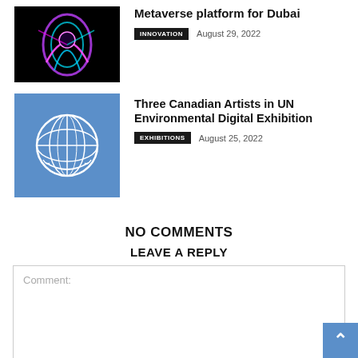[Figure (photo): Dark background with colorful neon abstract art/figure]
Metaverse platform for Dubai
INNOVATION   August 29, 2022
[Figure (photo): UN logo on blue background]
Three Canadian Artists in UN Environmental Digital Exhibition
EXHIBITIONS   August 25, 2022
NO COMMENTS
LEAVE A REPLY
Comment: